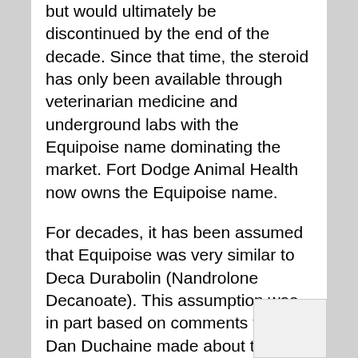but would ultimately be discontinued by the end of the decade. Since that time, the steroid has only been available through veterinarian medicine and underground labs with the Equipoise name dominating the market. Fort Dodge Animal Health now owns the Equipoise name.
For decades, it has been assumed that Equipoise was very similar to Deca Durabolin (Nandrolone Decanoate). This assumption was in part based on comments the late Dan Duchaine made about the steroid. However, the two compounds are not similar in any way; in fact, Duchaine would recant the statement, but the initial statement has been enough to keep the rumor alive. If Equipoise shares anything in common with another anabolic steroidal hormone, it